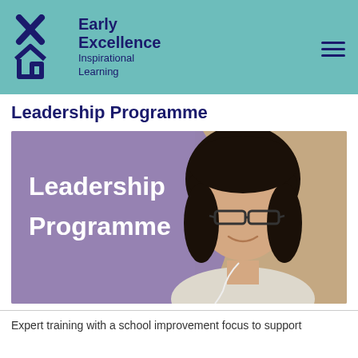Early Excellence Inspirational Learning
Leadership Programme
[Figure (photo): Hero image showing a woman with dark hair and glasses smiling, overlaid with purple background on the left side with white text reading 'Leadership Programme']
Expert training with a school improvement focus to support